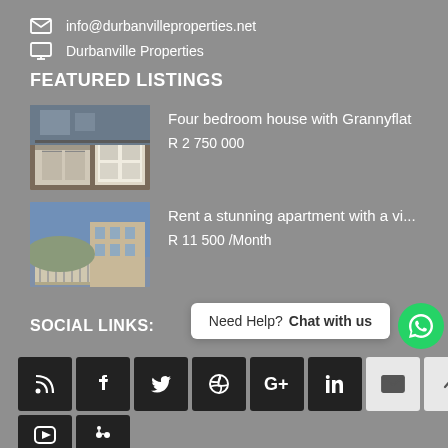info@durbanvilleproperties.net
Durbanville Properties
FEATURED LISTINGS
Four bedroom house with Grannyflat R 2 750 000
Rent a stunning apartment with a vi... R 11 500 /Month
SOCIAL LINKS:
Need Help? Chat with us
[Figure (infographic): Social media icon buttons: RSS, Facebook, Twitter, Dribbble, Google+, LinkedIn, Email, Up-arrow, YouTube, another icon]